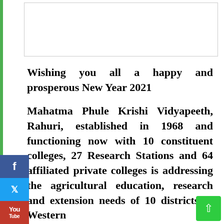[Figure (other): White image/banner box with border at top of page]
Wishing you all a happy and prosperous New Year 2021
Mahatma Phule Krishi Vidyapeeth, Rahuri, established in 1968 and functioning now with 10 constituent colleges, 27 Research Stations and 64 affiliated private colleges is addressing the agricultural education, research and extension needs of 10 districts of Western